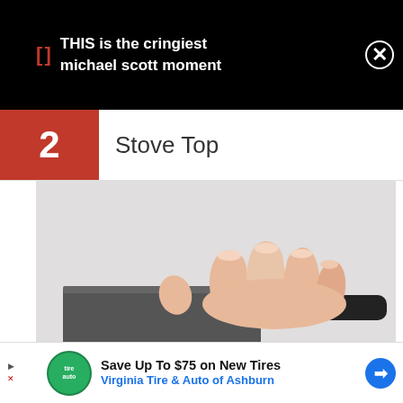THIS is the cringiest michael scott moment
2  Stove Top
[Figure (photo): A hand gripping the rim of a dark metal saucepan with a black handle, on a light gray background]
Save Up To $75 on New Tires
Virginia Tire & Auto of Ashburn